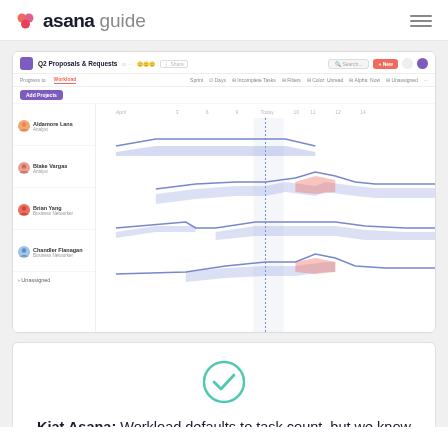asana guide
[Figure (screenshot): Asana workload view screenshot showing Q2 Proposals & Requests project with a timeline/workload chart. Four team members listed: Aldamore Lans (Analyst), Blake Vargas (Analyst), Brian Yang (Business Networker), Chandler Flanagan (Business Networker). Colored area charts show workload over time with some areas highlighted in red indicating overload. An Unassigned section is shown at the bottom.]
[Figure (infographic): Teal circle with white checkmark icon, indicating a tip or best practice.]
Kiat Asana: Workload defaults to task count, but we know not all tasks are created equally.